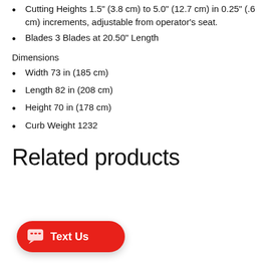Cutting Heights 1.5" (3.8 cm) to 5.0" (12.7 cm) in 0.25" (.6 cm) increments, adjustable from operator's seat.
Blades 3 Blades at 20.50" Length
Dimensions
Width 73 in (185 cm)
Length 82 in (208 cm)
Height 70 in (178 cm)
Curb Weight 1232
Related products